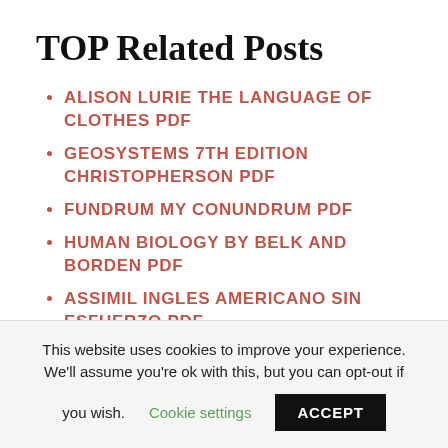TOP Related Posts
ALISON LURIE THE LANGUAGE OF CLOTHES PDF
GEOSYSTEMS 7TH EDITION CHRISTOPHERSON PDF
FUNDRUM MY CONUNDRUM PDF
HUMAN BIOLOGY BY BELK AND BORDEN PDF
ASSIMIL INGLES AMERICANO SIN ESFUERZO PDF
This website uses cookies to improve your experience. We'll assume you're ok with this, but you can opt-out if you wish. Cookie settings ACCEPT